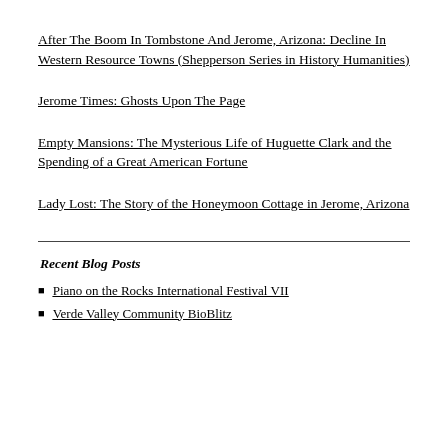After The Boom In Tombstone And Jerome, Arizona: Decline In Western Resource Towns (Shepperson Series in History Humanities)
Jerome Times: Ghosts Upon The Page
Empty Mansions: The Mysterious Life of Huguette Clark and the Spending of a Great American Fortune
Lady Lost: The Story of the Honeymoon Cottage in Jerome, Arizona
Recent Blog Posts
Piano on the Rocks International Festival VII
Verde Valley Community BioBlitz